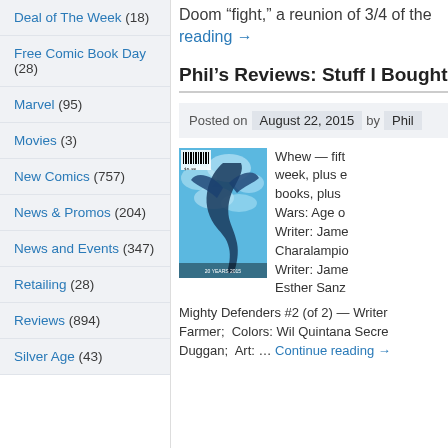Deal of The Week (18)
Free Comic Book Day (28)
Marvel (95)
Movies (3)
New Comics (757)
News & Promos (204)
News and Events (347)
Retailing (28)
Reviews (894)
Silver Age (43)
Doom “fight,” a reunion of 3/4 of the
reading →
Phil’s Reviews: Stuff I Bought
Posted on August 22, 2015 by Phil
[Figure (photo): Comic book cover featuring a blue dragon or creature against a blue sky background, with a barcode and price label visible.]
Whew — fift week, plus e books, plus Wars: Age o Writer: Jame Charalampio Writer: Jame Esther Sanz
Mighty Defenders #2 (of 2) — Writer Farmer;  Colors: Wil Quintana Secre Duggan;  Art: … Continue reading →